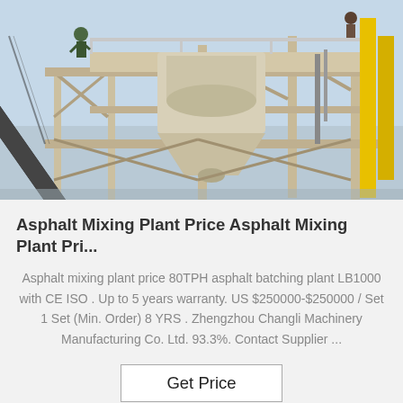[Figure (photo): Industrial asphalt mixing plant / batching plant machinery photographed from below against a light blue sky. Shows metal framework, conveyor belts, hopper and structural steel supports. Workers visible at top platform.]
Asphalt Mixing Plant Price Asphalt Mixing Plant Pri...
Asphalt mixing plant price 80TPH asphalt batching plant LB1000 with CE ISO . Up to 5 years warranty. US $250000-$250000 / Set 1 Set (Min. Order) 8 YRS . Zhengzhou Changli Machinery Manufacturing Co. Ltd. 93.3%. Contact Supplier ...
Get Price